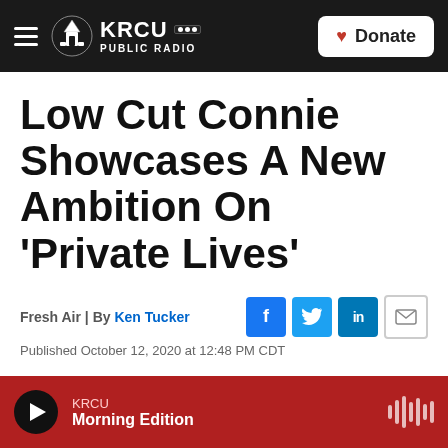KRCU NPR PUBLIC RADIO | Donate
Low Cut Connie Showcases A New Ambition On 'Private Lives'
Fresh Air | By Ken Tucker
Published October 12, 2020 at 12:48 PM CDT
[Figure (other): Red play button with text LISTEN • 7:08]
KRCU Morning Edition